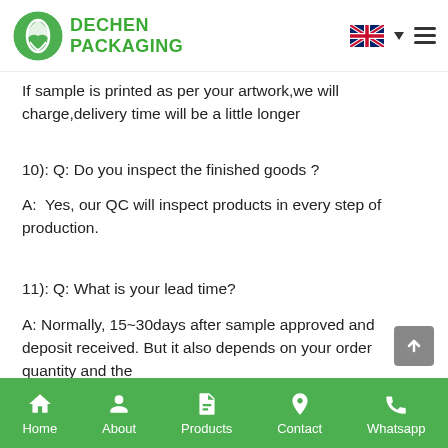DECHEN PACKAGING
If sample is printed as per your artwork,we will charge,delivery time will be a little longer
10): Q: Do you inspect the finished goods ?
A:  Yes, our QC will inspect products in every step of production.
11): Q: What is your lead time?
A: Normally, 15~30days after sample approved and deposit received. But it also depends on your order quantity and the
Home  About  Products  Contact  Whatsapp